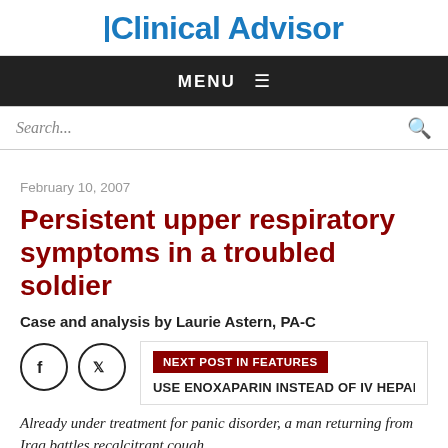Clinical Advisor
MENU
Search...
February 10, 2007
Persistent upper respiratory symptoms in a troubled soldier
Case and analysis by Laurie Astern, PA-C
NEXT POST IN FEATURES
USE ENOXAPARIN INSTEAD OF IV HEPARIN
Already under treatment for panic disorder, a man returning from Iraq battles recalcitrant cough.